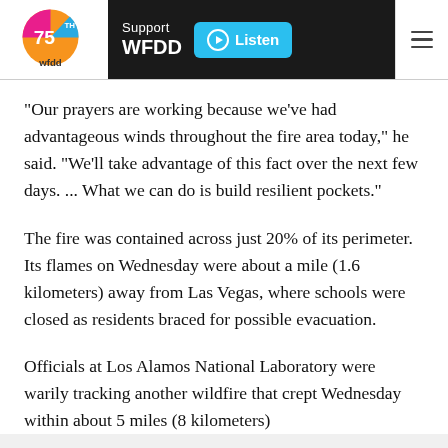WFDD 75th anniversary logo — Support WFDD — Listen — Menu
"Our prayers are working because we've had advantageous winds throughout the fire area today," he said. "We'll take advantage of this fact over the next few days. ... What we can do is build resilient pockets."
The fire was contained across just 20% of its perimeter. Its flames on Wednesday were about a mile (1.6 kilometers) away from Las Vegas, where schools were closed as residents braced for possible evacuation.
Officials at Los Alamos National Laboratory were warily tracking another wildfire that crept Wednesday within about 5 miles (8 kilometers) of facilities at the U.S. national defense...